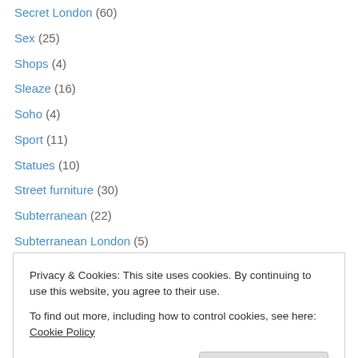Secret London (60)
Sex (25)
Shops (4)
Sleaze (16)
Soho (4)
Sport (11)
Statues (10)
Street furniture (30)
Subterranean (22)
Subterranean London (5)
Suburbs (1)
Superstition (12)
Talks (12)
Television (3)
Privacy & Cookies: This site uses cookies. By continuing to use this website, you agree to their use. To find out more, including how to control cookies, see here: Cookie Policy
Walking (4)